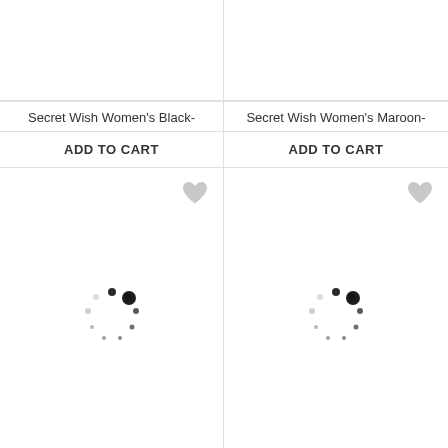[Figure (screenshot): Top portion of product card for Secret Wish Women's Black- (image area, empty/loading)]
[Figure (screenshot): Top portion of product card for Secret Wish Women's Maroon- (image area, empty/loading)]
Secret Wish Women's Black-
Secret Wish Women's Maroon-
ADD TO CART
ADD TO CART
[Figure (illustration): Loading spinner (circular dots pattern) in left product card]
[Figure (illustration): Loading spinner (circular dots pattern) in right product card]
SORT
FILTER